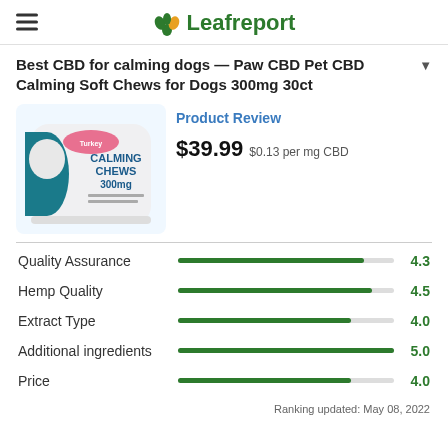Leafreport
Best CBD for calming dogs — Paw CBD Pet CBD Calming Soft Chews for Dogs 300mg 30ct
[Figure (photo): Product image of Paw CBD Calming Chews 300mg container with a dog on front]
Product Review
$39.99 $0.13 per mg CBD
[Figure (bar-chart): Product Ratings]
Ranking updated: May 08, 2022